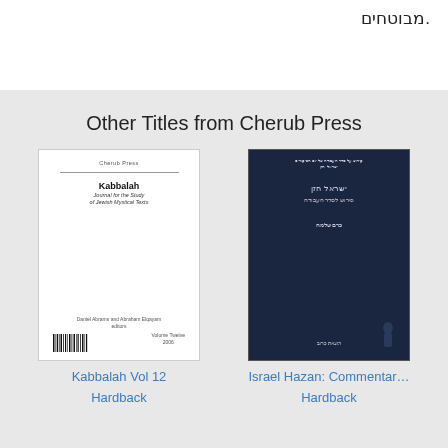מבוטחים.
Other Titles from Cherub Press
[Figure (illustration): Book cover of Kabbalah Journal for the Study of Jewish Mystical Texts, Volume Twelve, Cherub Press, edited by Daniel Abrams and Abraham Elqayam]
[Figure (illustration): Dark navy book cover with Hebrew text, Israel Hazan Commentary]
Kabbalah Vol 12
Hardback
Israel Hazan: Commentar…
Hardback